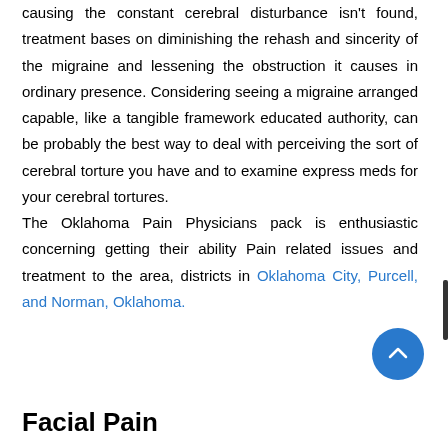causing the constant cerebral disturbance isn't found, treatment bases on diminishing the rehash and sincerity of the migraine and lessening the obstruction it causes in ordinary presence. Considering seeing a migraine arranged capable, like a tangible framework educated authority, can be probably the best way to deal with perceiving the sort of cerebral torture you have and to examine express meds for your cerebral tortures. The Oklahoma Pain Physicians pack is enthusiastic concerning getting their ability Pain related issues and treatment to the area, districts in Oklahoma City, Purcell, and Norman, Oklahoma.
Facial Pain